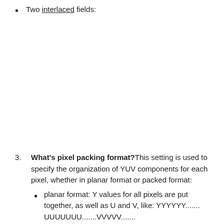Two interlaced fields:
What's pixel packing format?This setting is used to specify the organization of YUV components for each pixel, whether in planar format or packed format:
planar format: Y values for all pixels are put together, as well as U and V, like: YYYYYY....... UUUUUUU.......VVVVV.......
[Figure (other): Code box showing 'YYYYYY.....' in monospace font inside a bordered rectangle]